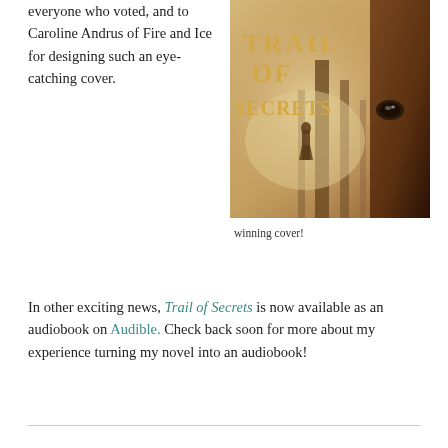everyone who voted, and to Caroline Andrus of Fire and Ice for designing such an eye-catching cover.
[Figure (photo): Book cover for 'Trail of Secrets' showing a misty forest scene with a silhouetted figure and a horse's eye close-up, with golden serif title text.]
winning cover!
In other exciting news, Trail of Secrets is now available as an audiobook on Audible. Check back soon for more about my experience turning my novel into an audiobook!